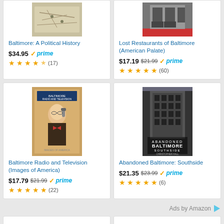[Figure (screenshot): Amazon product listing screenshot showing 4 book cards in a 2x2 grid]
Baltimore: A Political History
$34.95 prime Rating: 4.5/5 (17 reviews)
Lost Restaurants of Baltimore (American Palate)
$17.19 $21.99 prime Rating: 5/5 (60 reviews)
Baltimore Radio and Television (Images of America)
$17.79 $21.99 prime Rating: 5/5 (22 reviews)
Abandoned Baltimore: Southside
$21.35 $23.99 prime Rating: 5/5 (6 reviews)
Ads by Amazon